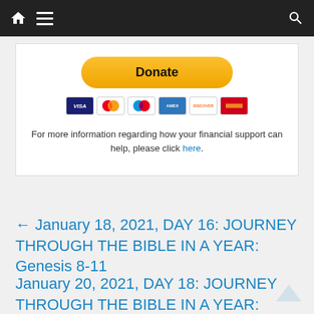Navigation bar with home, menu, and search icons
[Figure (infographic): PayPal Donate button (yellow/gold pill shape) with payment card icons below: VISA, Mastercard, Maestro, American Express, Discover, and another card]
For more information regarding how your financial support can help, please click here.
← January 18, 2021, DAY 16: JOURNEY THROUGH THE BIBLE IN A YEAR: Genesis 8-11
January 20, 2021, DAY 18: JOURNEY THROUGH THE BIBLE IN A YEAR: Psalms 6-8 →